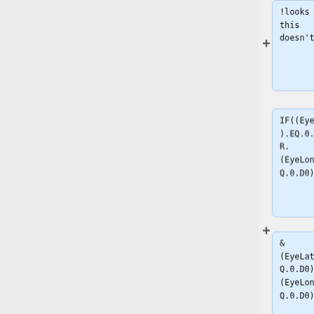[Figure (screenshot): Code block (partial) showing: !looks like this doesn't work]
[Figure (screenshot): Code block showing: IF((EyeLat(1).EQ.0.D0).OR. (EyeLon(1).EQ.0.D0).OR.]
[Figure (screenshot): Code block showing: & (EyeLat(2).EQ.0.D0).OR. (EyeLon(2).EQ.0.D0).OR.]
[Figure (screenshot): Code block showing: & (EyeLat(3).EQ.0.D0).OR. (EyeLon(3).EQ.0.D0))THEN]